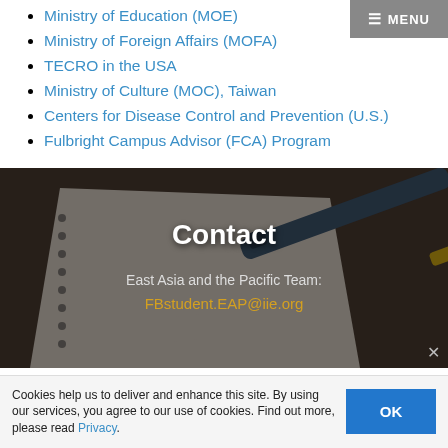Ministry of Education (MOE)
Ministry of Foreign Affairs (MOFA)
TECRO in the USA
Ministry of Culture (MOC), Taiwan
Centers for Disease Control and Prevention (U.S.)
Fulbright Campus Advisor (FCA) Program
[Figure (photo): Background photo of a spiral notebook and pen on a wooden desk, with Contact section overlay]
Contact
East Asia and the Pacific Team:
FBstudent.EAP@iie.org
Cookies help us to deliver and enhance this site. By using our services, you agree to our use of cookies. Find out more, please read Privacy.